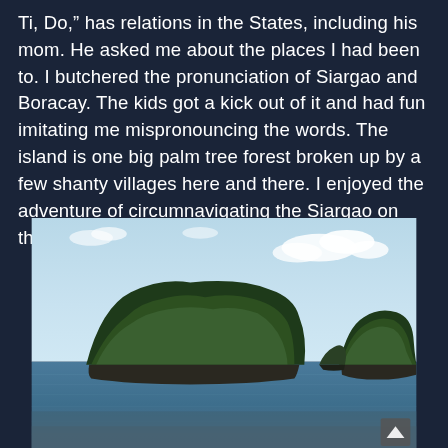Ti, Do," has relations in the States, including his mom. He asked me about the places I had been to. I butchered the pronunciation of Siargao and Boracay. The kids got a kick out of it and had fun imitating me mispronouncing the words. The island is one big palm tree forest broken up by a few shanty villages here and there. I enjoyed the adventure of circumnavigating the Siargao on the bike.
[Figure (photo): A photograph of lush green tree-covered rocky islands rising from calm blue water, with a light blue sky and scattered white clouds in the background. A smaller island is visible in the distance on the right side.]